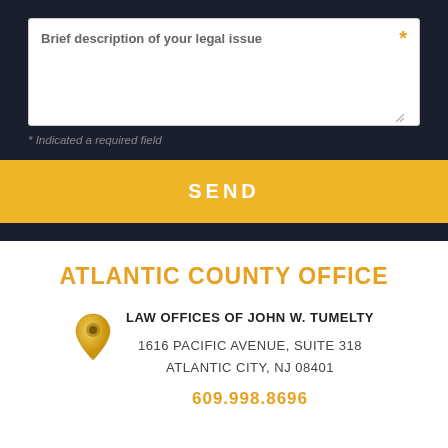Brief description of your legal issue *
* Indicated a required field
SEND
ATLANTIC COUNTY OFFICE
LAW OFFICES OF JOHN W. TUMELTY
1616 PACIFIC AVENUE, SUITE 318
ATLANTIC CITY, NJ 08401
609.998.8696